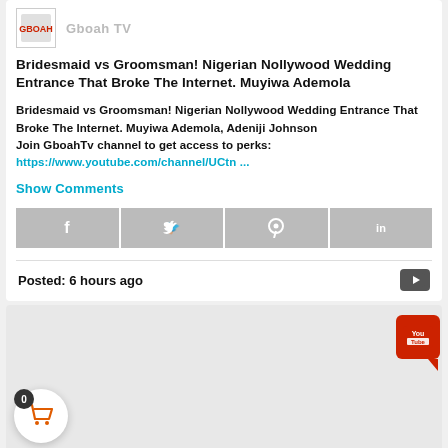Bridesmaid vs Groomsman! Nigerian Nollywood Wedding Entrance That Broke The Internet. Muyiwa Ademola
Bridesmaid vs Groomsman! Nigerian Nollywood Wedding Entrance That Broke The Internet. Muyiwa Ademola, Adeniji Johnson
Join GboahTv channel to get access to perks:
https://www.youtube.com/channel/UCtn ...
Show Comments
[Figure (infographic): Social share buttons: Facebook, Twitter, Pinterest, LinkedIn icons in gray boxes]
Posted: 6 hours ago
[Figure (screenshot): Gray section with YouTube red bubble icon in top right, shopping cart circle with badge 0 in bottom left]